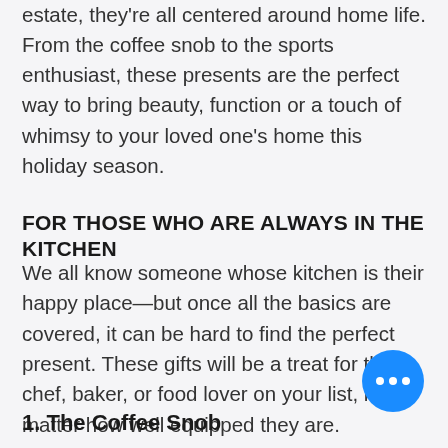estate, they're all centered around home life. From the coffee snob to the sports enthusiast, these presents are the perfect way to bring beauty, function or a touch of whimsy to your loved one's home this holiday season.
FOR THOSE WHO ARE ALWAYS IN THE KITCHEN
We all know someone whose kitchen is their happy place—but once all the basics are covered, it can be hard to find the perfect present. These gifts will be a treat for the chef, baker, or food lover on your list, no matter how well equipped they are.
1. The Coffee Snob